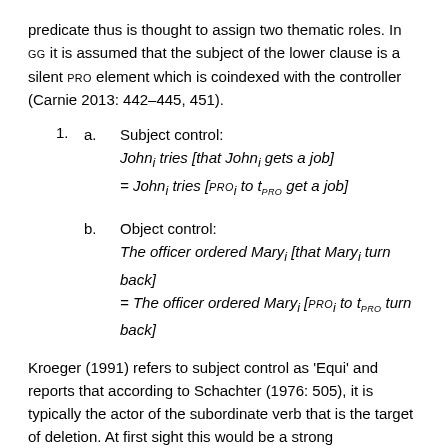predicate thus is thought to assign two thematic roles. In GG it is assumed that the subject of the lower clause is a silent PRO element which is coindexed with the controller (Carnie 2013: 442–445, 451).
1. a. Subject control: Johni tries [that Johni gets a job] = Johni tries [PROi to tPRO get a job]
b. Object control: The officer ordered Maryi [that Maryi turn back] = The officer ordered Maryi [PROi to tPRO turn back]
Kroeger (1991) refers to subject control as 'Equi' and reports that according to Schachter (1976: 505), it is typically the actor of the subordinate verb that is the target of deletion. At first sight this would be a strong